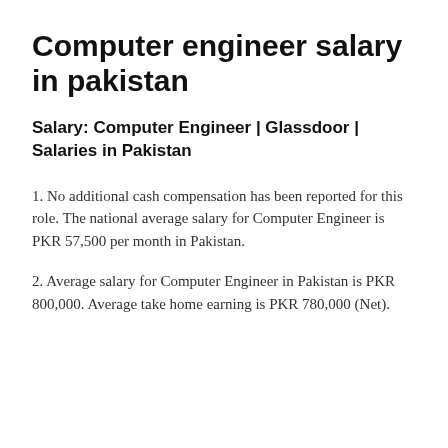Computer engineer salary in pakistan
Salary: Computer Engineer | Glassdoor | Salaries in Pakistan
1. No additional cash compensation has been reported for this role. The national average salary for Computer Engineer is PKR 57,500 per month in Pakistan.
2. Average salary for Computer Engineer in Pakistan is PKR 800,000. Average take home earning is PKR 780,000 (Net).